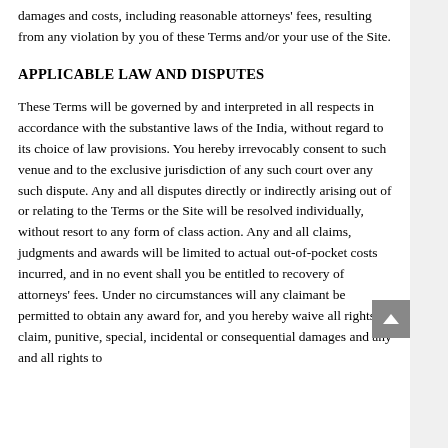damages and costs, including reasonable attorneys' fees, resulting from any violation by you of these Terms and/or your use of the Site.
APPLICABLE LAW AND DISPUTES
These Terms will be governed by and interpreted in all respects in accordance with the substantive laws of the India, without regard to its choice of law provisions. You hereby irrevocably consent to such venue and to the exclusive jurisdiction of any such court over any such dispute. Any and all disputes directly or indirectly arising out of or relating to the Terms or the Site will be resolved individually, without resort to any form of class action. Any and all claims, judgments and awards will be limited to actual out-of-pocket costs incurred, and in no event shall you be entitled to recovery of attorneys' fees. Under no circumstances will any claimant be permitted to obtain any award for, and you hereby waive all rights to claim, punitive, special, incidental or consequential damages and any and all rights to